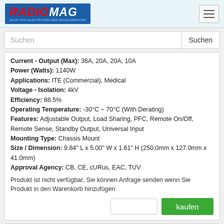RADIOMAG - SHOP VON ELEKTRONISCHEN BAUELEMENTEN
Current - Output (Max): 36A, 20A, 20A, 10A
Power (Watts): 1140W
Applications: ITE (Commercial), Medical
Voltage - Isolation: 4kV
Efficiency: 88.5%
Operating Temperature: -30°C ~ 70°C (With Derating)
Features: Adjustable Output, Load Sharing, PFC, Remote On/Off, Remote Sense, Standby Output, Universal Input
Mounting Type: Chassis Mount
Size / Dimension: 9.84" L x 5.00" W x 1.61" H (250.0mm x 127.0mm x 41.0mm)
Approval Agency: CB, CE, cURus, EAC, TUV
Produkt ist nicht verfügbar, Sie können Anfrage senden wenn Sie Produkt in den Warenkorb hinzufügen
NMP1K2-#ECEEH-00